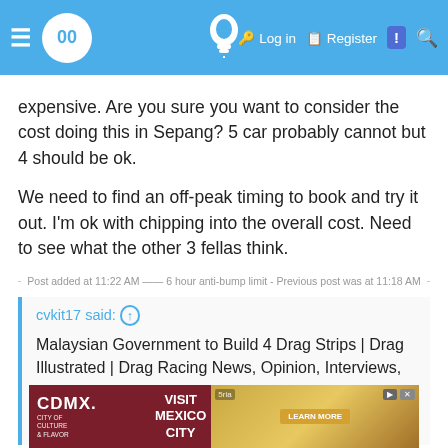Navigation bar with logo, lightbulb icon, Log in, Register, and search
expensive. Are you sure you want to consider the cost doing this in Sepang? 5 car probably cannot but 4 should be ok.
We need to find an off-peak timing to book and try it out. I'm ok with chipping into the overall cost. Need to see what the other 3 fellas think.
—— Post added at 11:22 AM —— 6 hour anti-bump limit - Previous post was at 11:18 AM ——
cvkit17 said: ↑

Malaysian Government to Build 4 Drag Strips | Drag Illustrated | Drag Racing News, Opinion, Interviews, Photos, Videos and More

Macam ialah wor
[Figure (screenshot): CDMX Visit Mexico City advertisement banner at bottom]